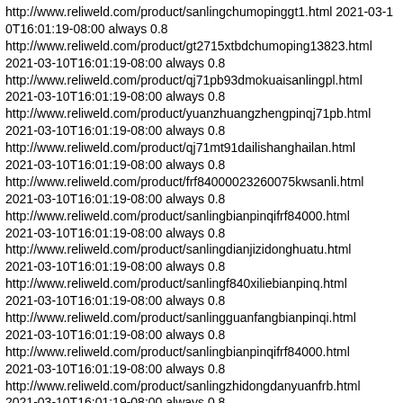http://www.reliweld.com/product/sanlingchumopinggt1.html 2021-03-10T16:01:19-08:00 always 0.8
http://www.reliweld.com/product/gt2715xtbdchumoping13823.html 2021-03-10T16:01:19-08:00 always 0.8
http://www.reliweld.com/product/qj71pb93dmokuaisanlingpl.html 2021-03-10T16:01:19-08:00 always 0.8
http://www.reliweld.com/product/yuanzhuangzhengpinqj71pb.html 2021-03-10T16:01:19-08:00 always 0.8
http://www.reliweld.com/product/qj71mt91dailishanghailan.html 2021-03-10T16:01:19-08:00 always 0.8
http://www.reliweld.com/product/frf84000023260075kwsanli.html 2021-03-10T16:01:19-08:00 always 0.8
http://www.reliweld.com/product/sanlingbianpinqifrf84000.html 2021-03-10T16:01:19-08:00 always 0.8
http://www.reliweld.com/product/sanlingdianjizidonghuatu.html 2021-03-10T16:01:19-08:00 always 0.8
http://www.reliweld.com/product/sanlingf840xiliebianpinq.html 2021-03-10T16:01:19-08:00 always 0.8
http://www.reliweld.com/product/sanlingguanfangbianpinqi.html 2021-03-10T16:01:19-08:00 always 0.8
http://www.reliweld.com/product/sanlingbianpinqifrf84000.html 2021-03-10T16:01:19-08:00 always 0.8
http://www.reliweld.com/product/sanlingzhidongdanyuanfrb.html 2021-03-10T16:01:19-08:00 always 0.8
http://www.reliweld.com/product/gongyingsanlingyuanzhuan.html 2021-03-10T16:01:19-08:00 always 0.8